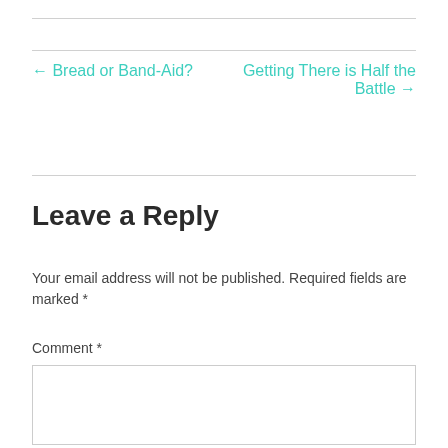← Bread or Band-Aid?
Getting There is Half the Battle →
Leave a Reply
Your email address will not be published. Required fields are marked *
Comment *